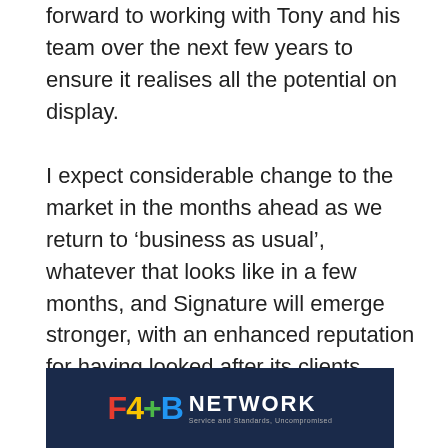forward to working with Tony and his team over the next few years to ensure it realises all the potential on display.
I expect considerable change to the market in the months ahead as we return to ‘business as usual’, whatever that looks like in a few months, and Signature will emerge stronger, with an enhanced reputation for having looked after its clients through the challenges of the coronavirus lockdown.”
[Figure (logo): F4B Network logo on dark navy background with colourful F4B letters and NETWORK text. Tagline: Service and Standards, Uncompromised.]